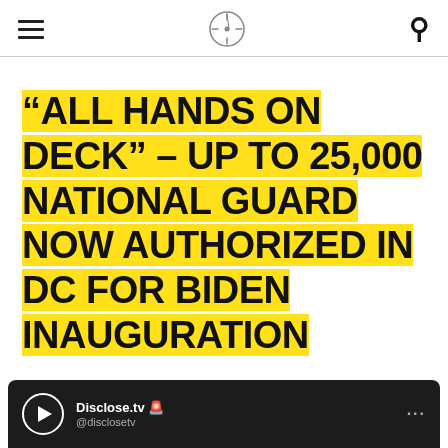[hamburger menu] [logo] [search icon]
“ALL HANDS ON DECK” – UP TO 25,000 NATIONAL GUARD NOW AUTHORIZED IN DC FOR BIDEN INAUGURATION
[Figure (screenshot): Disclose.tv social media embed card with play button icon, handle @disclosetv, and options dots on dark background]